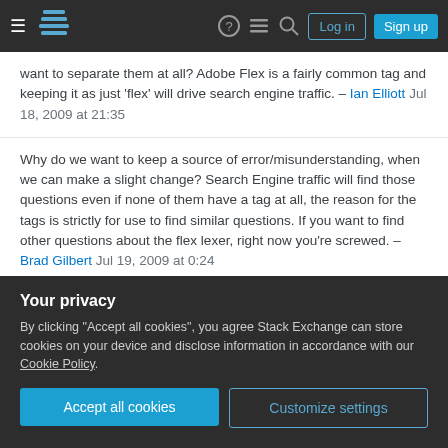Stack Exchange navigation bar with Log in and Sign up buttons
want to separate them at all? Adobe Flex is a fairly common tag and keeping it as just 'flex' will drive search engine traffic. – Ian Elliott Jul 18, 2009 at 21:35
Why do we want to keep a source of error/misunderstanding, when we can make a slight change? Search Engine traffic will find those questions even if none of them have a tag at all, the reason for the tags is strictly for use to find similar questions. If you want to find other questions about the flex lexer, right now you're screwed. – Brad Gilbert Jul 19, 2009 at 0:24
I have already gone through and tagged all flex(ing)
Your privacy
By clicking "Accept all cookies", you agree Stack Exchange can store cookies on your device and disclose information in accordance with our Cookie Policy.
Accept all cookies
Customize settings